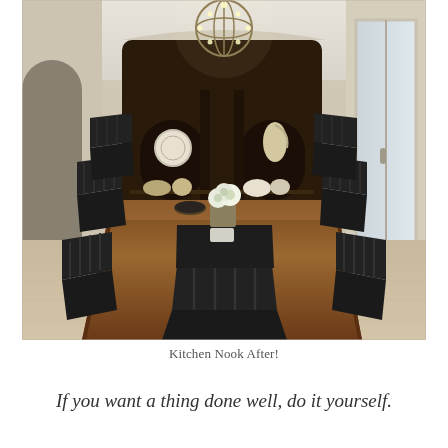[Figure (photo): Interior dining room photo showing a long dark wood farmhouse table with black spindle-back chairs on both sides, white floral centerpiece, a large dark ornate china cabinet with arched display shelves in the background, and a spherical open-frame chandelier hanging from the ceiling. Natural light comes in from a sliding glass door on the right.]
Kitchen Nook After!
If you want a thing done well, do it yourself.